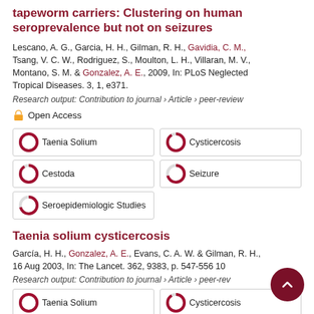tapeworm carriers: Clustering on human seroprevalence but not on seizures
Lescano, A. G., Garcia, H. H., Gilman, R. H., Gavidia, C. M., Tsang, V. C. W., Rodriguez, S., Moulton, L. H., Villaran, M. V., Montano, S. M. & Gonzalez, A. E., 2009, In: PLoS Neglected Tropical Diseases. 3, 1, e371.
Research output: Contribution to journal › Article › peer-review
Open Access
100% Taenia Solium
91% Cysticercosis
91% Cestoda
71% Seizure
71% Seroepidemiologic Studies
Taenia solium cysticercosis
García, H. H., Gonzalez, A. E., Evans, C. A. W. & Gilman, R. H., 16 Aug 2003, In: The Lancet. 362, 9383, p. 547-556 10
Research output: Contribution to journal › Article › peer-rev
100% Taenia Solium
91% Cysticercosis